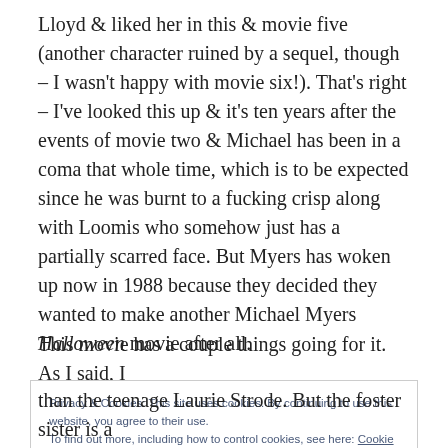Lloyd & liked her in this & movie five (another character ruined by a sequel, though – I wasn't happy with movie six!). That's right – I've looked this up & it's ten years after the events of movie two & Michael has been in a coma that whole time, which is to be expected since he was burnt to a fucking crisp along with Loomis who somehow just has a partially scarred face. But Myers has woken up now in 1988 because they decided they wanted to make another Michael Myers Halloween movie after all.
This movie has a couple things going for it. As I said, I
Privacy & Cookies: This site uses cookies. By continuing to use this website, you agree to their use.
To find out more, including how to control cookies, see here: Cookie Policy
than the teenage Laurie Strode. But the foster sister is a